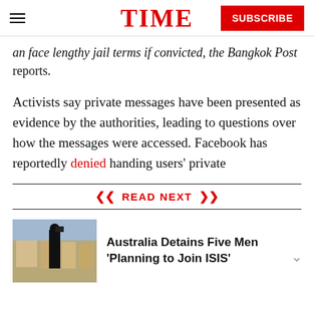TIME — SUBSCRIBE
an face lengthy jail terms if convicted, the Bangkok Post reports.
Activists say private messages have been presented as evidence by the authorities, leading to questions over how the messages were accessed. Facebook has reportedly denied handing users' private
READ NEXT
Australia Detains Five Men 'Planning to Join ISIS'